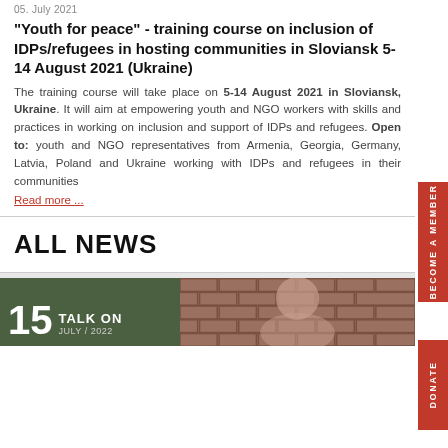05. July 2021
"Youth for peace" - training course on inclusion of IDPs/refugees in hosting communities in Sloviansk 5-14 August 2021 (Ukraine)
The training course will take place on 5-14 August 2021 in Sloviansk, Ukraine. It will aim at empowering youth and NGO workers with skills and practices in working on inclusion and support of IDPs and refugees. Open to: youth and NGO representatives from Armenia, Georgia, Germany, Latvia, Poland and Ukraine working with IDPs and refugees in their communities
Read more ...
ALL NEWS
EVENTS
15  JULY / 2022  TALK ON